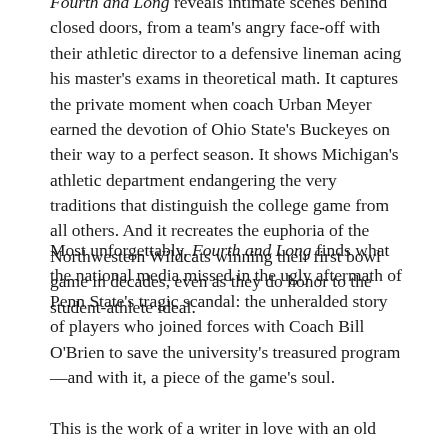Fourth and Long reveals intimate scenes behind closed doors, from a team's angry face-off with their athletic director to a defensive lineman acing his master's exams in theoretical math. It captures the private moment when coach Urban Meyer earned the devotion of Ohio State's Buckeyes on their way to a perfect season. It shows Michigan's athletic department endangering the very traditions that distinguish the college game from all others. And it recreates the euphoria of the Northwestern Wildcats winning their first bowl game in decades, even as they do honor to the student-athlete ideal.
Most unforgettably, Fourth and Long finds what the national media missed in the ugly aftermath of Penn State's tragic scandal: the unheralded story of players who joined forces with Coach Bill O'Brien to save the university's treasured program—and with it, a piece of the game's soul.
This is the work of a writer in love with an old